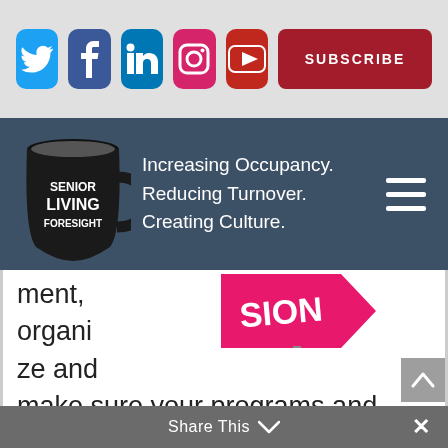[Figure (screenshot): Social media icon buttons: Twitter (blue), Facebook (dark blue), LinkedIn (blue), Instagram (pink), YouTube (red), and a red SUBSCRIBE button on a light grey background]
[Figure (logo): Senior Living Foresight website header with a black mug logo and tagline: Increasing Occupancy. Reducing Turnover. Creating Culture. on a dark blue-grey background with hamburger menu icon]
ment, organize and make sure your programs and files are in sync, backed up and aligned?
As often as needed!
Share This ∨  ×